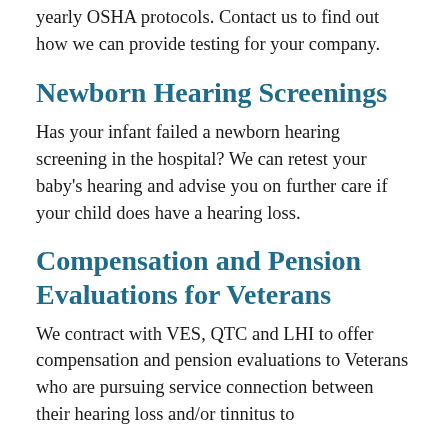yearly OSHA protocols. Contact us to find out how we can provide testing for your company.
Newborn Hearing Screenings
Has your infant failed a newborn hearing screening in the hospital? We can retest your baby's hearing and advise you on further care if your child does have a hearing loss.
Compensation and Pension Evaluations for Veterans
We contract with VES, QTC and LHI to offer compensation and pension evaluations to Veterans who are pursuing service connection between their hearing loss and/or tinnitus to